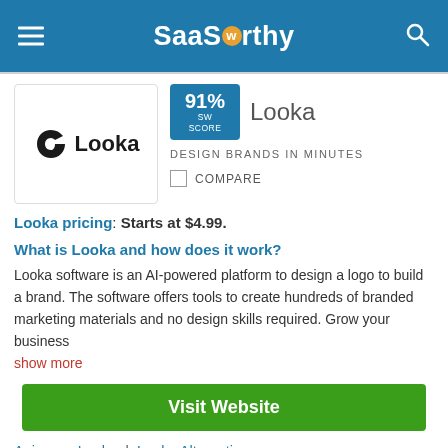SaaSworthy
[Figure (logo): Looka product logo with stylized S icon and text 'Looka']
91% SW SCORE
Looka
DESIGN BRANDS IN MINUTES
COMPARE
Looka pricing: Starts at $4.99.
What is Looka and how does it work?
Looka software is an AI-powered platform to design a logo to build a brand. The software offers tools to create hundreds of branded marketing materials and no design skills required. Grow your business
show more
Visit Website
Anima vs Looka | Looka Alternatives
Filter By
Filter Applied